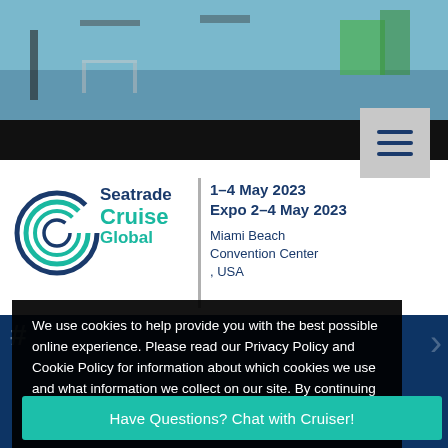[Figure (photo): Convention center interior photo showing exhibition hall setup with blue floor and furniture stands; black bar at bottom]
[Figure (logo): Seatrade Cruise Global logo with circular spiral 'C' symbol in teal/navy]
1–4 May 2023
Expo 2–4 May 2023
Miami Beach
Convention Center
, USA
We use cookies to help provide you with the best possible online experience. Please read our Privacy Policy and Cookie Policy for information about which cookies we use and what information we collect on our site. By continuing to use this site, you agree that we may store and access cookies on your device.
Have Questions? Chat with Cruiser!